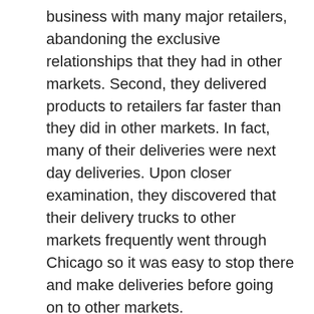business with many major retailers, abandoning the exclusive relationships that they had in other markets. Second, they delivered products to retailers far faster than they did in other markets. In fact, many of their deliveries were next day deliveries. Upon closer examination, they discovered that their delivery trucks to other markets frequently went through Chicago so it was easy to stop there and make deliveries before going on to other markets.
The new president wondered if they could replicate Chicago in other geographical areas. When he looked more broadly, he discovered that customers in other markets would often have to wait 1 to 2 weeks for delivery of their paper order and even then 20% of the ordered items might be out of stock and backordered. Compared to Chicago, these other markets had horrendous customer service. In addition, these long delivery times and unshipped items created customer discontent and significant